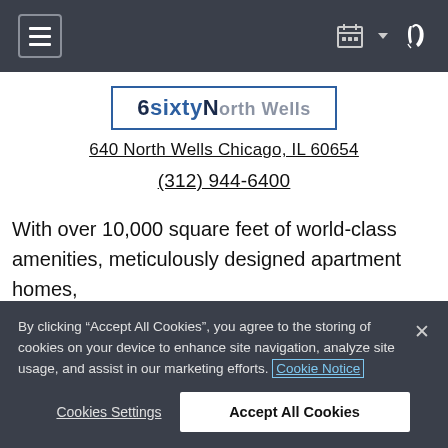Navigation bar with hamburger menu, calendar icon, dropdown arrow, and phone icon
[Figure (logo): 640 North Wells logo — text '6640 North Wells' with 'sixty' styled in blue, inside a blue-bordered rectangle]
640 North Wells Chicago, IL 60654
(312) 944-6400
With over 10,000 square feet of world-class amenities, meticulously designed apartment homes,
By clicking “Accept All Cookies”, you agree to the storing of cookies on your device to enhance site navigation, analyze site usage, and assist in our marketing efforts. Cookie Notice
Cookies Settings
Accept All Cookies